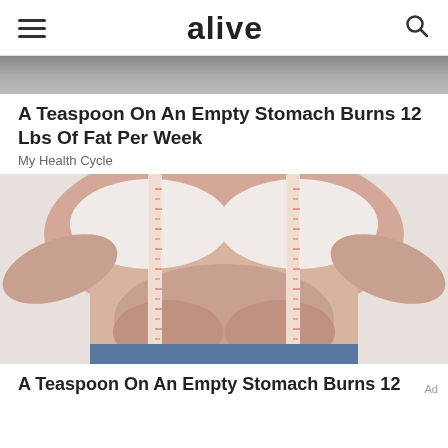alive
[Figure (photo): Partial top of an image, dark/grey tones, cropped at top of page]
A Teaspoon On An Empty Stomach Burns 12 Lbs Of Fat Per Week
My Health Cycle
[Figure (photo): Woman in white bra holding belly fat with a measuring tape around her torso, grey background]
A Teaspoon On An Empty Stomach Burns 12